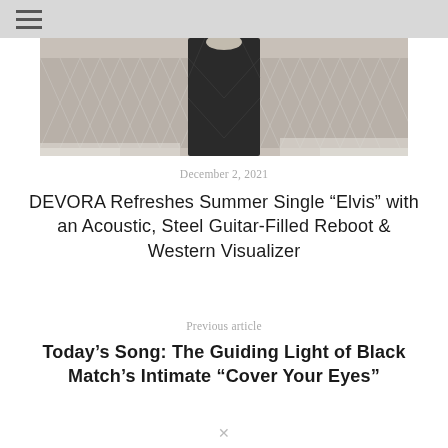☰
[Figure (photo): Person wearing a dark patterned coat standing in front of a chain-link fence in a winter outdoor setting]
December 2, 2021
DEVORA Refreshes Summer Single “Elvis” with an Acoustic, Steel Guitar-Filled Reboot & Western Visualizer
Previous article
Today’s Song: The Guiding Light of Black Match’s Intimate “Cover Your Eyes”